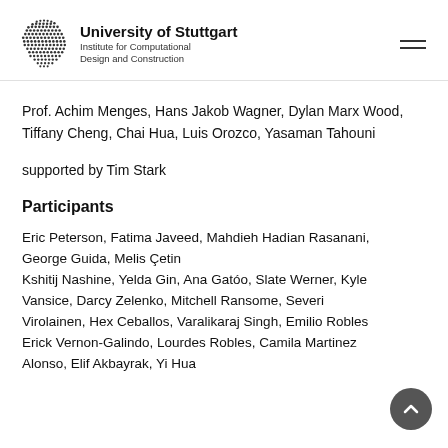University of Stuttgart — Institute for Computational Design and Construction
Prof. Achim Menges, Hans Jakob Wagner, Dylan Marx Wood, Tiffany Cheng, Chai Hua, Luis Orozco, Yasaman Tahouni
supported by Tim Stark
Participants
Eric Peterson, Fatima Javeed, Mahdieh Hadian Rasanani, George Guida, Melis Çetin
Kshitij Nashine, Yelda Gin, Ana Gatóo, Slate Werner, Kyle Vansice, Darcy Zelenko, Mitchell Ransome, Severi Virolainen, Hex Ceballos, Varalikaraj Singh, Emilio Robles
Erick Vernon-Galindo, Lourdes Robles, Camila Martinez Alonso, Elif Akbayrak, Yi Hua...